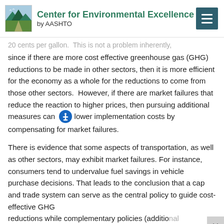Center for Environmental Excellence by AASHTO
20 cents per gallon.  This is not a problem inherently, since if there are more cost effective greenhouse gas (GHG) reductions to be made in other sectors, then it is more efficient for the economy as a whole for the reductions to come from those other sectors.  However, if there are market failures that reduce the reaction to higher prices, then pursuing additional measures can lower implementation costs by compensating for market failures.
There is evidence that some aspects of transportation, as well as other sectors, may exhibit market failures. For instance, consumers tend to undervalue fuel savings in vehicle purchase decisions. That leads to the conclusion that a cap and trade system can serve as the central policy to guide cost-effective GHG reductions while complementary policies (additional